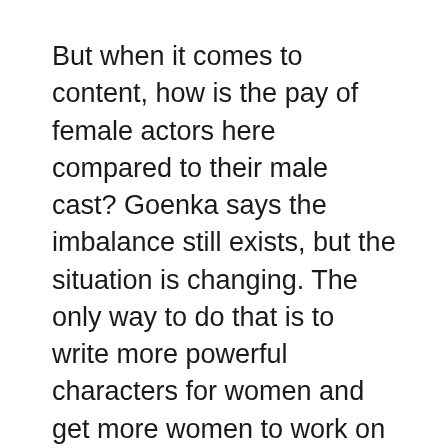But when it comes to content, how is the pay of female actors here compared to their male cast? Goenka says the imbalance still exists, but the situation is changing. The only way to do that is to write more powerful characters for women and get more women to work on different aspects of a project.
Personally, he feels it is time to diversify into different fields in the sequence of his work. “I will start singing this year… As an actor, there are two projects lined up for the year that I am most excited about. I